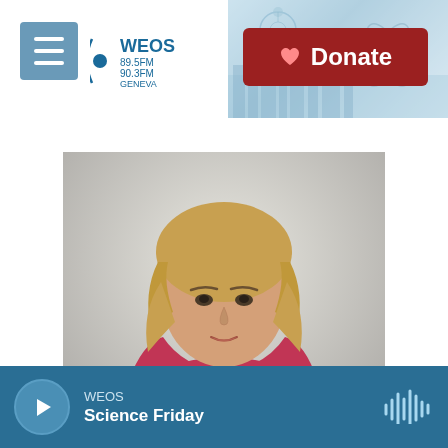WEOS 89.5FM 90.3FM Geneva — Donate
[Figure (photo): Professional headshot of Sacha Pfeiffer, a woman with blonde hair wearing a red long-sleeve top, gesturing with her hand against a light gray background.]
Sacha Pfeiffer
WEOS Science Friday